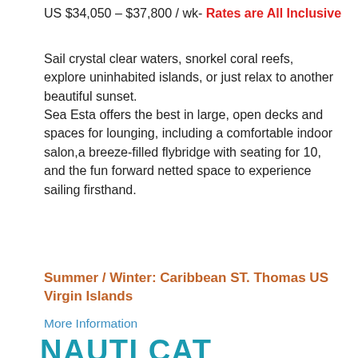US $34,050 – $37,800 / wk- Rates are All Inclusive
Sail crystal clear waters, snorkel coral reefs, explore uninhabited islands, or just relax to another beautiful sunset. Sea Esta offers the best in large, open decks and spaces for lounging, including a comfortable indoor salon,a breeze-filled flybridge with seating for 10, and the fun forward netted space to experience sailing firsthand.
Summer / Winter: Caribbean ST. Thomas US Virgin Islands
More Information
NAUTI CAT
[Figure (photo): Photo of a sailboat with masts against a blue sky with clouds]